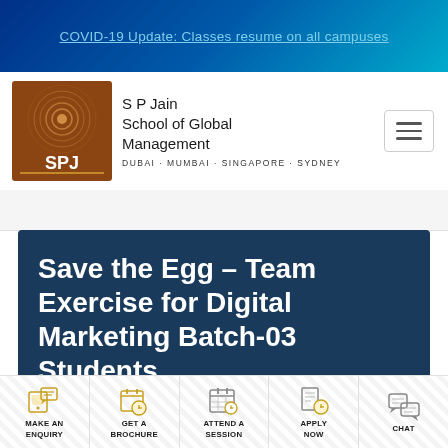COVID-19 Update: Classes resume on all campuses
[Figure (logo): SP Jain School of Global Management logo with golden-brown square graphic and text. Campuses: DUBAI · MUMBAI · SINGAPORE · SYDNEY]
Save the Egg – Team Exercise for Digital Marketing Batch-03 Students
MAKE AN ENQUIRY
GET A BROCHURE
ATTEND A SESSION
APPLY NOW
CHAT